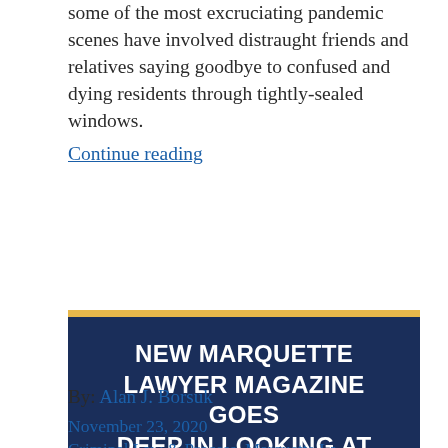some of the most excruciating pandemic scenes have involved distraught friends and relatives saying goodbye to confused and dying residents through tightly-sealed windows.
Continue reading
NEW MARQUETTE LAWYER MAGAZINE GOES DEEP IN LOOKING AT CRIME AND SOCIETY
By: Alan J. Borsuk
November 23, 2020
Criminal Law & Process, Marquette La...